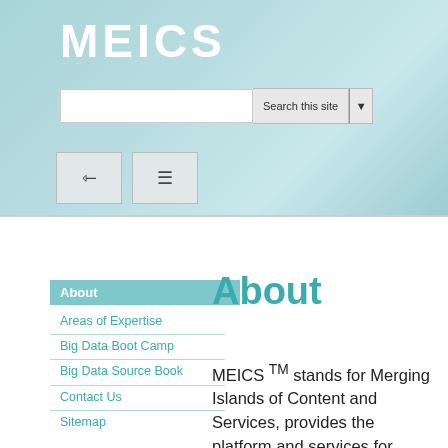MEICS
[Figure (screenshot): Website header with MEICS logo, search bar with 'Search this site' button and dropdown arrow, and two icon buttons below (back arrow icon and hamburger menu icon) on a teal gradient background]
About
Areas of Expertise
Big Data Boot Camp
Big Data Source Book
Contact Us
Sitemap
About
MEICS TM stands for Merging Islands of Content and Services, provides the platform and services for Data, Predictive, Visual Analytics, Continuous Learning and Recommender